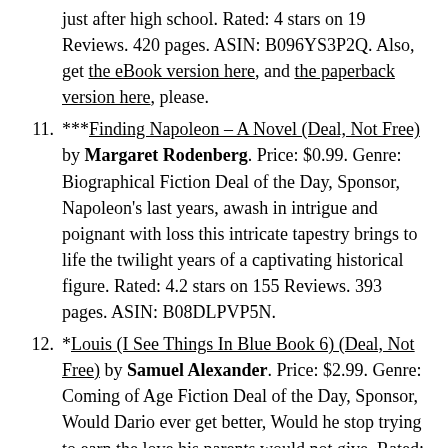just after high school. Rated: 4 stars on 19 Reviews. 420 pages. ASIN: B096YS3P2Q. Also, get the eBook version here, and the paperback version here, please.
***Finding Napoleon – A Novel (Deal, Not Free) by Margaret Rodenberg. Price: $0.99. Genre: Biographical Fiction Deal of the Day, Sponsor, Napoleon's last years, awash in intrigue and poignant with loss this intricate tapestry brings to life the twilight years of a captivating historical figure. Rated: 4.2 stars on 155 Reviews. 393 pages. ASIN: B08DLPVP5N.
*Louis (I See Things In Blue Book 6) (Deal, Not Free) by Samuel Alexander. Price: $2.99. Genre: Coming of Age Fiction Deal of the Day, Sponsor, Would Dario ever get better, Would he stop trying to earn the love his parents would not give. Rated: 4.5 stars on 7 Reviews. 64 pages. ASIN: B08LH6XS4C. Also, get the eBook version here,